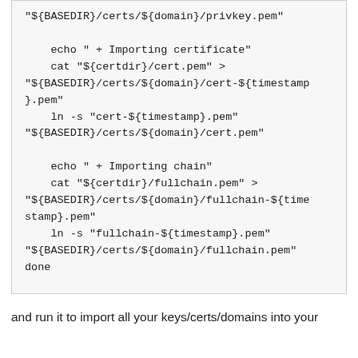"${BASEDIR}/certs/${domain}/privkey.pem"

    echo " + Importing certificate"
    cat "${certdir}/cert.pem" >
"${BASEDIR}/certs/${domain}/cert-${timestamp}.pem"
    ln -s "cert-${timestamp}.pem"
"${BASEDIR}/certs/${domain}/cert.pem"

    echo " + Importing chain"
    cat "${certdir}/fullchain.pem" >
"${BASEDIR}/certs/${domain}/fullchain-${timestamp}.pem"
    ln -s "fullchain-${timestamp}.pem"
"${BASEDIR}/certs/${domain}/fullchain.pem"
done
and run it to import all your keys/certs/domains into your